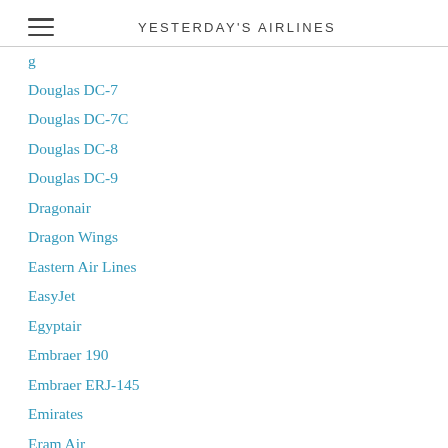YESTERDAY'S AIRLINES
Douglas DC-7
Douglas DC-7C
Douglas DC-8
Douglas DC-9
Dragonair
Dragon Wings
Eastern Air Lines
EasyJet
Egyptair
Embraer 190
Embraer ERJ-145
Emirates
Eram Air
Fairchild F-27
Fairchild FH-227
Finlantic
Fokker 50